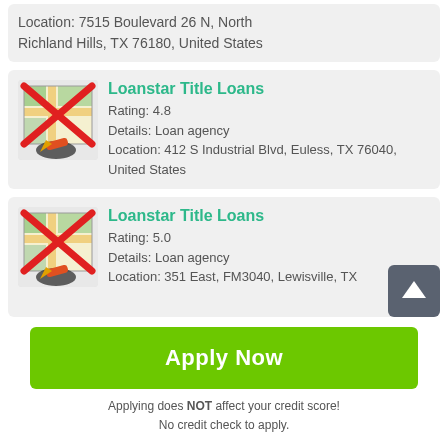Location: 7515 Boulevard 26 N, North Richland Hills, TX 76180, United States
Loanstar Title Loans
Rating: 4.8
Details: Loan agency
Location: 412 S Industrial Blvd, Euless, TX 76040, United States
Loanstar Title Loans
Rating: 5.0
Details: Loan agency
Location: 351 East, FM3040, Lewisville, TX
Apply Now
Applying does NOT affect your credit score!
No credit check to apply.